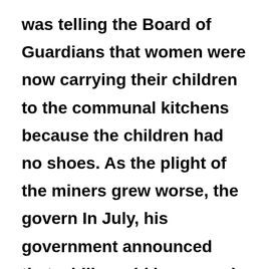was telling the Board of Guardians that women were now carrying their children to the communal kitchens because the children had no shoes. As the plight of the miners grew worse, the govern In July, his government announced that a bill would be passed lengthening the working day in the mines.

Four million British subjects were thus